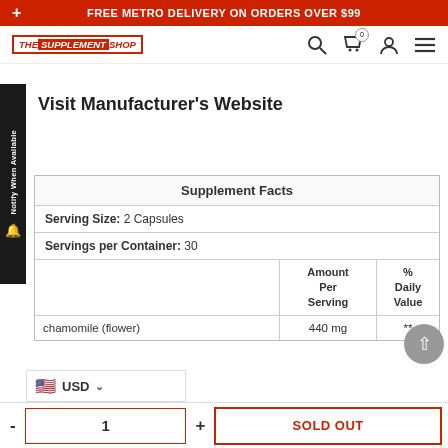+ FREE METRO DELIVERY ON ORDERS OVER $99
[Figure (logo): The Supplement Shop logo in red]
Visit Manufacturer's Website
|  | Amount Per Serving | % Daily Value |
| --- | --- | --- |
| Supplement Facts |  |  |
| Serving Size: 2 Capsules |  |  |
| Servings per Container: 30 |  |  |
| chamomile (flower) | 440 mg | ** |
USD
- 1 + SOLD OUT